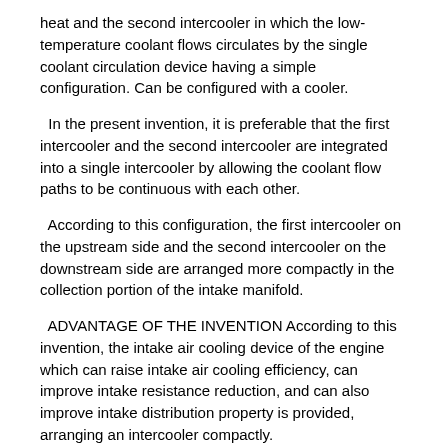heat and the second intercooler in which the low-temperature coolant flows circulates by the single coolant circulation device having a simple configuration. Can be configured with a cooler.
In the present invention, it is preferable that the first intercooler and the second intercooler are integrated into a single intercooler by allowing the coolant flow paths to be continuous with each other.
According to this configuration, the first intercooler on the upstream side and the second intercooler on the downstream side are arranged more compactly in the collection portion of the intake manifold.
ADVANTAGE OF THE INVENTION According to this invention, the intake air cooling device of the engine which can raise intake air cooling efficiency, can improve intake resistance reduction, and can also improve intake distribution property is provided, arranging an intercooler compactly.
1 is a partially cutaway plan view of an engine intake air cooling device according to a first embodiment of the